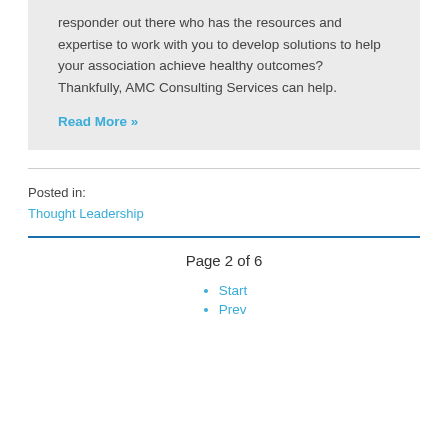responder out there who has the resources and expertise to work with you to develop solutions to help your association achieve healthy outcomes? Thankfully, AMC Consulting Services can help.
Read More »
Posted in:
Thought Leadership
Page 2 of 6
Start
Prev